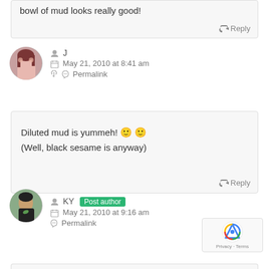bowl of mud looks really good!
Reply
J
May 21, 2010 at 8:41 am
Permalink
[Figure (photo): Profile photo of user J - a woman making circles with her fingers around her eyes]
Diluted mud is yummeh! 🙂 🙂
(Well, black sesame is anyway)
Reply
[Figure (photo): Profile photo of user KY - a man eating or smelling a green leaf]
KY Post author
May 21, 2010 at 9:16 am
Permalink